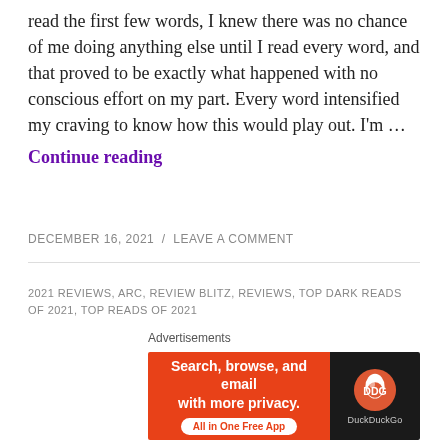read the first few words, I knew there was no chance of me doing anything else until I read every word, and that proved to be exactly what happened with no conscious effort on my part. Every word intensified my craving to know how this would play out. I'm …
Continue reading
DECEMBER 16, 2021 / LEAVE A COMMENT
2021 REVIEWS, ARC, REVIEW BLITZ, REVIEWS, TOP DARK READS OF 2021, TOP READS OF 2021
Merciless Kings by Becca Steele and C. Lymari ~ Review
Merciless Kings was an absolutely mind-blowing
[Figure (screenshot): DuckDuckGo advertisement banner: orange background with text 'Search, browse, and email with more privacy. All in One Free App' and DuckDuckGo logo on dark background.]